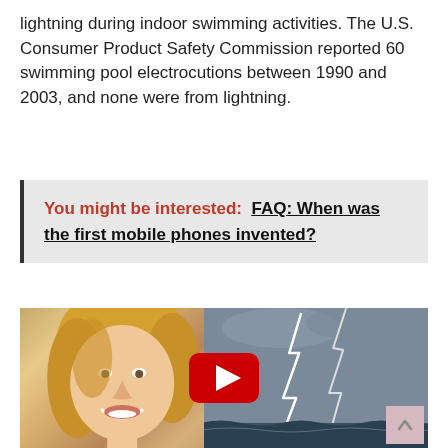lightning during indoor swimming activities. The U.S. Consumer Product Safety Commission reported 60 swimming pool electrocutions between 1990 and 2003, and none were from lightning.
You might be interested:  FAQ: When was the first mobile phones invented?
[Figure (screenshot): YouTube video thumbnail showing a smiling blonde woman on the left and lightning bolts over the ocean on the right, with a red YouTube play button in the center.]